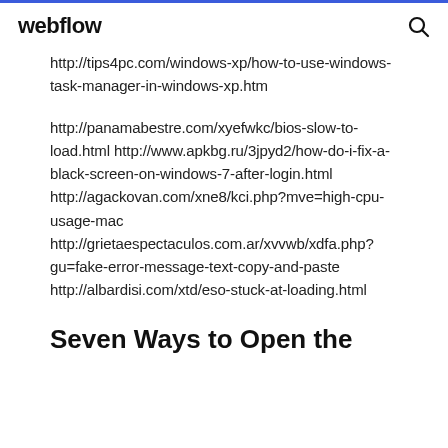webflow
http://tips4pc.com/windows-xp/how-to-use-windows-task-manager-in-windows-xp.htm
http://panamabestre.com/xyefwkc/bios-slow-to-load.html http://www.apkbg.ru/3jpyd2/how-do-i-fix-a-black-screen-on-windows-7-after-login.html http://agackovan.com/xne8/kci.php?mve=high-cpu-usage-mac http://grietaespectaculos.com.ar/xvvwb/xdfa.php?gu=fake-error-message-text-copy-and-paste http://albardisi.com/xtd/eso-stuck-at-loading.html
Seven Ways to Open the